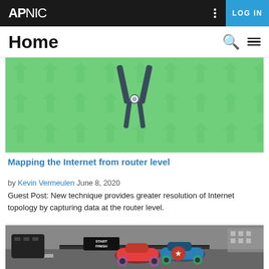APNIC | LOG IN
Home
[Figure (illustration): Green background with pliers/compass tool illustration in the center and subtle arrow pattern]
Mapping the Internet from router level
by Kevin Vermeulen June 8, 2020
Guest Post: New technique provides greater resolution of Internet topology by capturing data at the router level.
[Figure (photo): Photo of toy racing cars (red and blue Captain America themed) on a slot car racing track with a network connector in the background, partially grayscale]